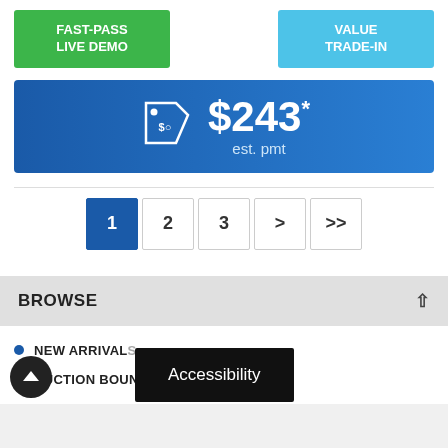[Figure (infographic): Green button labeled FAST-PASS LIVE DEMO on the left and light blue button labeled VALUE TRADE-IN on the right]
[Figure (infographic): Blue price bar with price tag icon showing $243* est. pmt]
[Figure (infographic): Pagination bar with buttons 1 (active/blue), 2, 3, >, >>]
BROWSE
NEW ARRIVALS
AUCTION BOUND
[Figure (infographic): Accessibility tooltip overlay in black box with white background text 'Accessibility', and a black circular back-to-top button with up arrow]